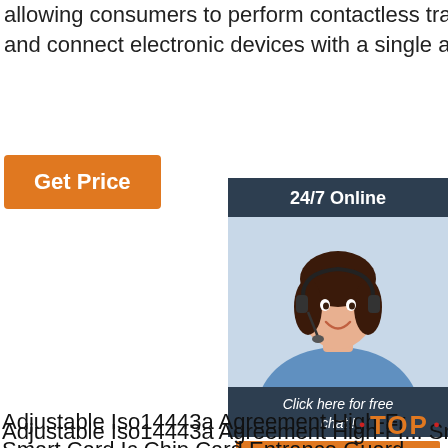allowing consumers to perform contactless transactions, access digital content, and connect electronic devices with a single approach.
[Figure (other): Orange 'Get Price' button]
[Figure (other): 24/7 Online chat sidebar with a customer service representative photo, 'Click here for free chat!' text, and an orange QUOTATION button]
Adjustable Iso14443a Agreement High-Frequency Smart Card Ic Chip Card Entrance Guard Large-Scale Activities
After-Sale Warranty Large Chain Gyms RFID Wristbands High-Frequency Nfc Bracelet Chips
Sell Like Hot Cakes Manufacturers Supply Az9654 High-Frequency Label Windscreen Parking Lot Rfid Electronic Tag
Easy Identify Marathon Running Marathon Electronic Special Chip Timing Tags Rfid Tags Run